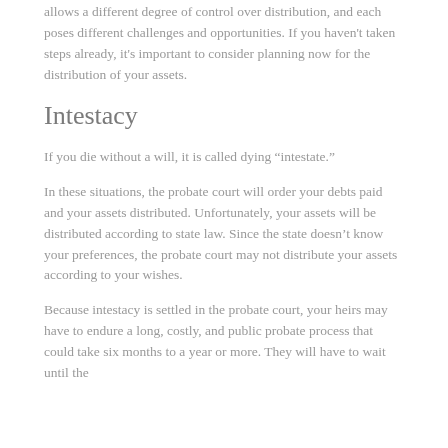allows a different degree of control over distribution, and each poses different challenges and opportunities. If you haven’t taken steps already, it’s important to consider planning now for the distribution of your assets.
Intestacy
If you die without a will, it is called dying “intestate.”
In these situations, the probate court will order your debts paid and your assets distributed. Unfortunately, your assets will be distributed according to state law. Since the state doesn’t know your preferences, the probate court may not distribute your assets according to your wishes.
Because intestacy is settled in the probate court, your heirs may have to endure a long, costly, and public probate process that could take six months to a year or more. They will have to wait until the